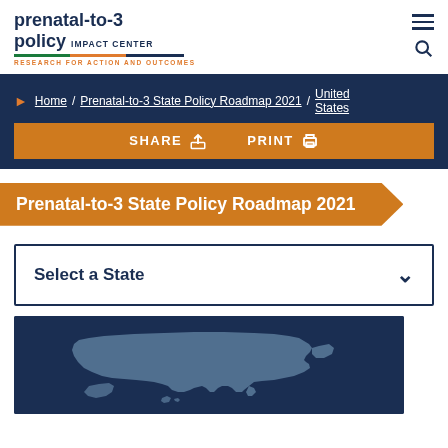prenatal-to-3 policy IMPACT CENTER — RESEARCH FOR ACTION AND OUTCOMES
Home / Prenatal-to-3 State Policy Roadmap 2021 / United States
SHARE  PRINT
Prenatal-to-3 State Policy Roadmap 2021
Select a State
[Figure (map): Interactive map of the United States shown in grey silhouette on a dark navy blue background, used for state selection on the Prenatal-to-3 State Policy Roadmap 2021 page.]